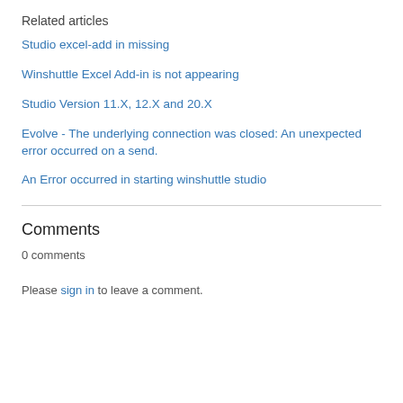Related articles
Studio excel-add in missing
Winshuttle Excel Add-in is not appearing
Studio Version 11.X, 12.X and 20.X
Evolve - The underlying connection was closed: An unexpected error occurred on a send.
An Error occurred in starting winshuttle studio
Comments
0 comments
Please sign in to leave a comment.